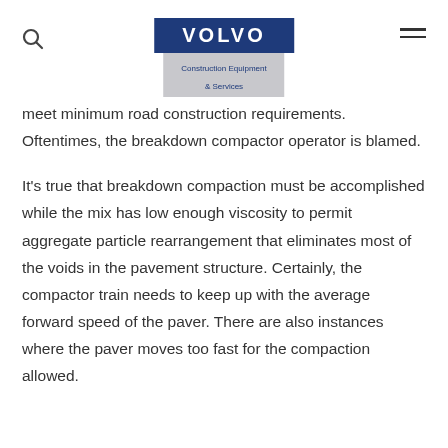VOLVO Construction Equipment & Services
meet minimum road construction requirements. Oftentimes, the breakdown compactor operator is blamed.
It’s true that breakdown compaction must be accomplished while the mix has low enough viscosity to permit aggregate particle rearrangement that eliminates most of the voids in the pavement structure. Certainly, the compactor train needs to keep up with the average forward speed of the paver. There are also instances where the paver moves too fast for the compaction allowed.